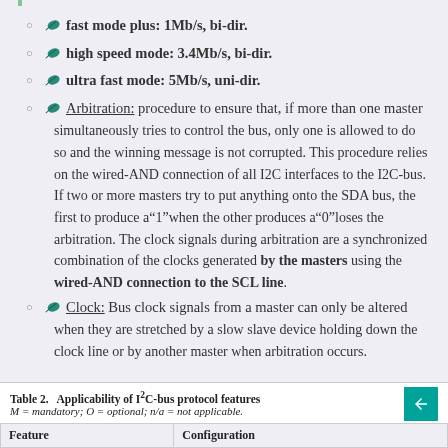fast mode plus: 1Mb/s, bi-dir.
high speed mode: 3.4Mb/s, bi-dir.
ultra fast mode: 5Mb/s, uni-dir.
Arbitration: procedure to ensure that, if more than one master simultaneously tries to control the bus, only one is allowed to do so and the winning message is not corrupted. This procedure relies on the wired-AND connection of all I2C interfaces to the I2C-bus. If two or more masters try to put anything onto the SDA bus, the first to produce a“1”when the other produces a“0”loses the arbitration. The clock signals during arbitration are a synchronized combination of the clocks generated by the masters using the wired-AND connection to the SCL line.
Clock: Bus clock signals from a master can only be altered when they are stretched by a slow slave device holding down the clock line or by another master when arbitration occurs.
Table 2. Applicability of I2C-bus protocol features
M = mandatory; O = optional; n/a = not applicable.
| Feature | Configuration |
| --- | --- |